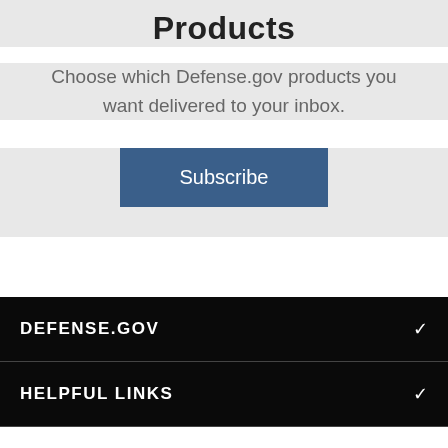Products
Choose which Defense.gov products you want delivered to your inbox.
Subscribe
DEFENSE.GOV
HELPFUL LINKS